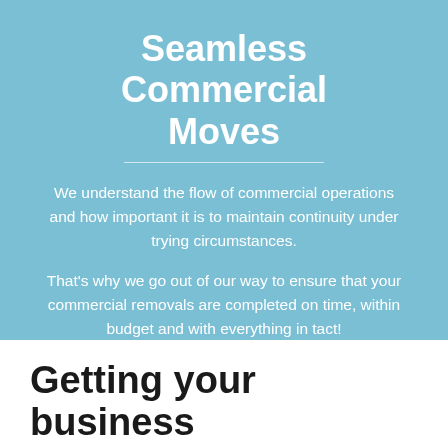Seamless Commercial Moves
We understand the flow of commercial operations and how important it is to maintain continuity under trying circumstances.
That's why we go out of our way to ensure that your commercial removals are completed on time, within budget and with everything in tact!
Getting your business